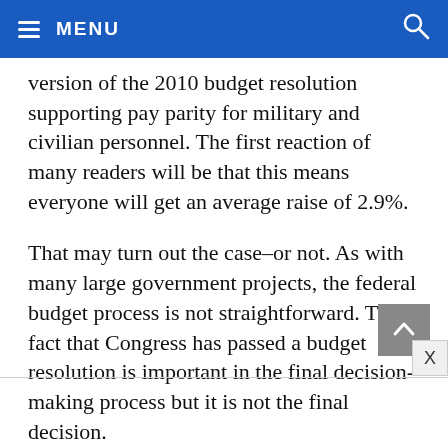MENU
version of the 2010 budget resolution supporting pay parity for military and civilian personnel. The first reaction of many readers will be that this means everyone will get an average raise of 2.9%.
That may turn out the case–or not. As with many large government projects, the federal budget process is not straightforward. The fact that Congress has passed a budget resolution is important in the final decision-making process but it is not the final decision.